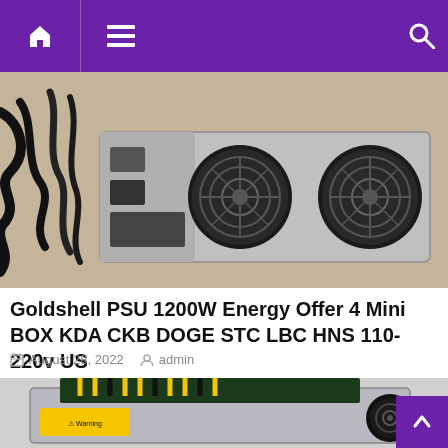Navigation bar with home, menu, and search icons
[Figure (photo): Goldshell PSU 1200W power supply unit with two large cooling fans on a beige textile background, with black power cables visible on the left]
Goldshell PSU 1200W Energy Offer 4 Mini BOX KDA CKB DOGE STC LBC HNS 110-220v US
August 28, 2022  admin
[Figure (photo): Bitcoin ASIC mining hardware (Antminer-style) showing silver chassis with colorful power cables (yellow, black, green) on top and a large cooling fan, with a yellow warning sticker on the front panel]